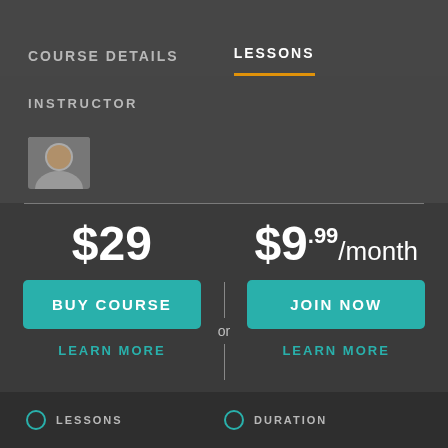COURSE DETAILS
LESSONS
INSTRUCTOR
[Figure (photo): Instructor photo thumbnail (partially visible)]
$29
BUY COURSE
or
$9.99/month
JOIN NOW
LEARN MORE
LEARN MORE
LESSONS   DURATION